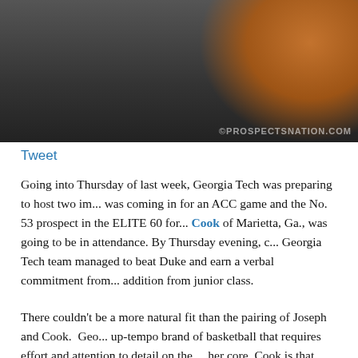[Figure (photo): Photo of a basketball player in an orange uniform with a watermark reading ©PROSPECTSNATION.COM]
Tweet
Going into Thursday of last week, Georgia Tech was preparing to host two im... was coming in for an ACC game and the No. 53 prospect in the ELITE 60 for... Cook of Marietta, Ga., was going to be in attendance. By Thursday evening, c... Georgia Tech team managed to beat Duke and earn a verbal commitment from... addition from junior class.
There couldn't be a more natural fit than the pairing of Joseph and Cook. Geo... up-tempo brand of basketball that requires effort and attention to detail on the ... her core, Cook is that kind of guard. She is a 5-foot-6 combo guard who plays... shoulder. She is part lockdown defender, part offensive playmaker, mixed with... the game.
With two posts, Martine Fortune and Chelsea Guimaraes, headed to Atlanta...